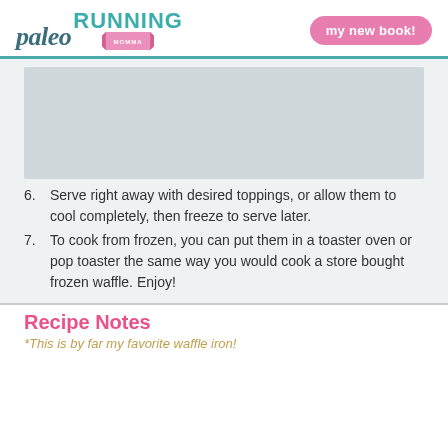paleo RUNNING MOMMA | my new book!
[Figure (photo): Food photo placeholder (gray rectangle)]
6. Serve right away with desired toppings, or allow them to cool completely, then freeze to serve later.
7. To cook from frozen, you can put them in a toaster oven or pop toaster the same way you would cook a store bought frozen waffle. Enjoy!
Recipe Notes
*This is by far my favorite waffle iron!